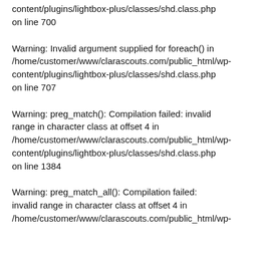content/plugins/lightbox-plus/classes/shd.class.php on line 700
Warning: Invalid argument supplied for foreach() in /home/customer/www/clarascouts.com/public_html/wp-content/plugins/lightbox-plus/classes/shd.class.php on line 707
Warning: preg_match(): Compilation failed: invalid range in character class at offset 4 in /home/customer/www/clarascouts.com/public_html/wp-content/plugins/lightbox-plus/classes/shd.class.php on line 1384
Warning: preg_match_all(): Compilation failed: invalid range in character class at offset 4 in /home/customer/www/clarascouts.com/public_html/wp-